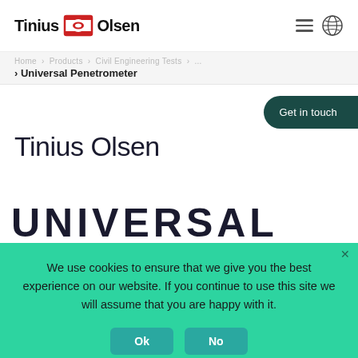Tinius Olsen
Home > Products > Civil Engineering Tests > Universal Penetrometer
Get in touch
Tinius Olsen
UNIVERSAL
We use cookies to ensure that we give you the best experience on our website. If you continue to use this site we will assume that you are happy with it.
Ok  No